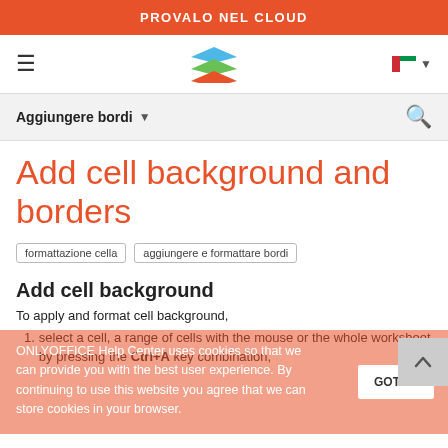PROVALO NEL CLOUD
[Figure (logo): OnlyOffice stacked layers logo in blue, green, orange]
Aggiungere bordi ▾
Add cell background and borders
formattazione cella   aggiungere e formattare bordi
Add cell background
To apply and format cell background,
ONLYOFFICE Help Center uses cookies so that we can provide you with the best user experience. By continuing to use this website you agree that we can store cookies in your browser.
select a cell, a range of cells with the mouse or the whole worksheet by pressing the Ctrl+A key combination,